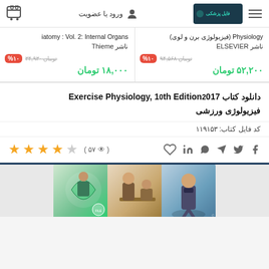ورود یا عضویت — Logo
iatomy : Vol. 2: Internal Organs ناشر Thieme | تومان ۳۴,۹۳۰- %۱۰ | ۱۸,۰۰۰ تومان
Physiology (فیزیولوژی برن و لوی) ناشر ELSEVIER | تومان ۹۴,۵۶۸- %۱۰ | ۵۲,۲۰۰ تومان
دانلود کتاب Exercise Physiology, 10th Edition2017 فیزیولوژی ورزشی
کد فایل کتاب: ۱۱۹۱۵۳
★★★★☆ ( ۵۷ 👁 )
[Figure (photo): Book cover collage showing exercise physiology scenes with athletes]